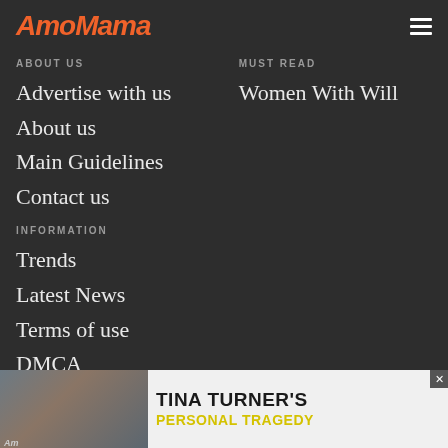AmoMama
ABOUT US
Advertise with us
About us
Main Guidelines
Contact us
MUST READ
Women With Will
INFORMATION
Trends
Latest News
Terms of use
DMCA
Privacy Policy
[Figure (infographic): Advertisement banner for Tina Turner's Personal Tragedy article, featuring a photo of Tina Turner and text reading TINA TURNER'S PERSONAL TRAGEDY with a close button]